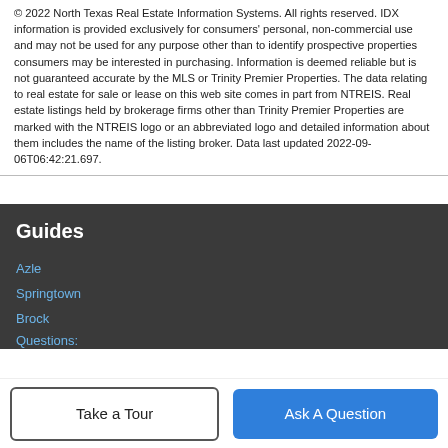© 2022 North Texas Real Estate Information Systems. All rights reserved. IDX information is provided exclusively for consumers' personal, non-commercial use and may not be used for any purpose other than to identify prospective properties consumers may be interested in purchasing. Information is deemed reliable but is not guaranteed accurate by the MLS or Trinity Premier Properties. The data relating to real estate for sale or lease on this web site comes in part from NTREIS. Real estate listings held by brokerage firms other than Trinity Premier Properties are marked with the NTREIS logo or an abbreviated logo and detailed information about them includes the name of the listing broker. Data last updated 2022-09-06T06:42:21.697.
Guides
Azle
Springtown
Brock
Questions: